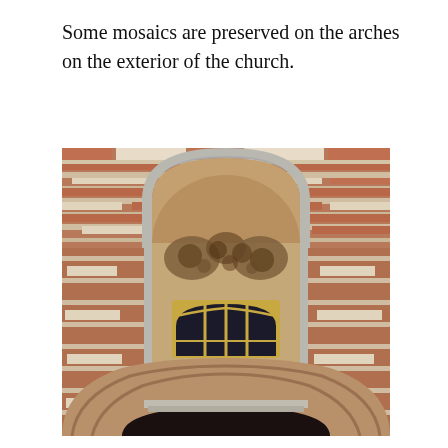Some mosaics are preserved on the arches on the exterior of the church.
[Figure (photo): Close-up photograph of a church exterior wall made of alternating red brick and white stone rows. A rounded arch niche is visible in the center, with remnants of mosaic decorations on the curved interior surface. Below the arch are two sets of arched windows with dark glass panes set in a yellowish frame. At the bottom, a decorative brick arch is partially visible.]